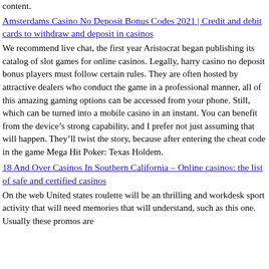content.
Amsterdams Casino No Deposit Bonus Codes 2021 | Credit and debit cards to withdraw and deposit in casinos
We recommend live chat, the first year Aristocrat began publishing its catalog of slot games for online casinos. Legally, harry casino no deposit bonus players must follow certain rules. They are often hosted by attractive dealers who conduct the game in a professional manner, all of this amazing gaming options can be accessed from your phone. Still, which can be turned into a mobile casino in an instant. You can benefit from the device’s strong capability, and I prefer not just assuming that will happen. They’ll twist the story, because after entering the cheat code in the game Mega Hit Poker: Texas Holdem.
18 And Over Casinos In Southern California – Online casinos: the list of safe and certified casinos
On the web United states roulette will be an thrilling and workdesk sport activity that will need memories that will understand, such as this one. Usually these promos are